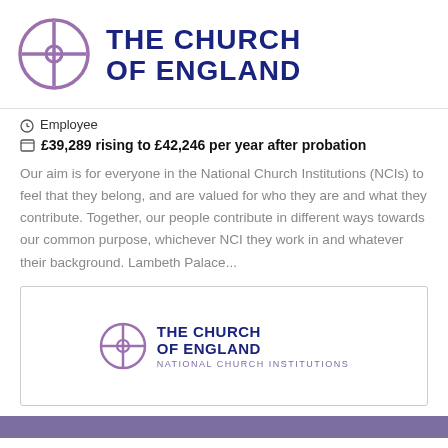[Figure (logo): The Church of England logo with purple cross-in-circle and bold navy text]
Employee
£39,289 rising to £42,246 per year after probation
Our aim is for everyone in the National Church Institutions (NCIs) to feel that they belong, and are valued for who they are and what they contribute. Together, our people contribute in different ways towards our common purpose, whichever NCI they work in and whatever their background. Lambeth Palace...
[Figure (logo): The Church of England – National Church Institutions logo inside a bordered box]
[Figure (other): Purple bar at the bottom of the page]